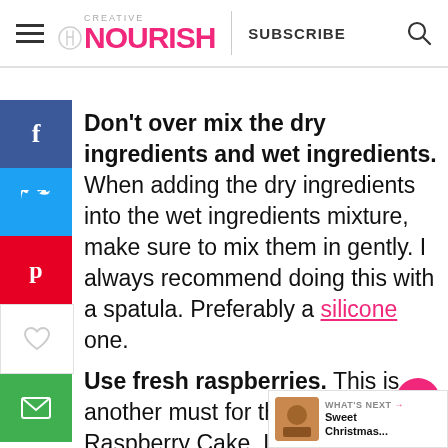CREATIVE NOURISH — SUBSCRIBE
Don't over mix the dry ingredients and wet ingredients. When adding the dry ingredients into the wet ingredients mixture, make sure to mix them in gently. I always recommend doing this with a spatula. Preferably a silicone one.
Use fresh raspberries. This is another must for this Almond Raspberry Cake. If you use frozen ones no matter how or long you drain them they will still be